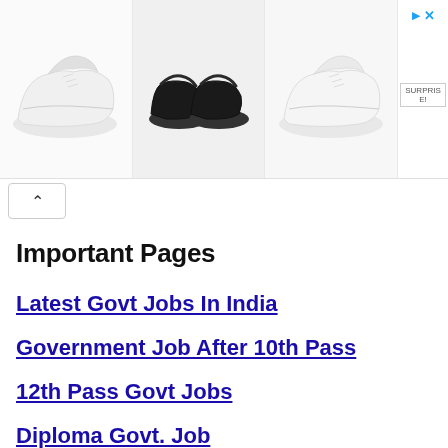[Figure (photo): Advertisement banner showing three pairs of shoes: white sneakers on left, black slides in center, white sneakers on right. Small ad label on far right side.]
Latest Govt Jobs In India
Government Job After 10th Pass
12th Pass Govt Jobs
Diploma Govt. Job
Graduate Govt Jobs